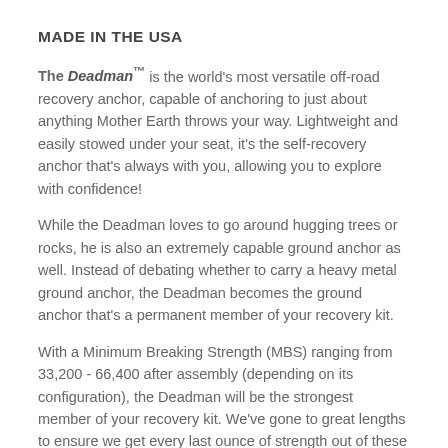MADE IN THE USA
The Deadman™ is the world's most versatile off-road recovery anchor, capable of anchoring to just about anything Mother Earth throws your way. Lightweight and easily stowed under your seat, it's the self-recovery anchor that's always with you, allowing you to explore with confidence!
While the Deadman loves to go around hugging trees or rocks, he is also an extremely capable ground anchor as well. Instead of debating whether to carry a heavy metal ground anchor, the Deadman becomes the ground anchor that's a permanent member of your recovery kit.
With a Minimum Breaking Strength (MBS) ranging from 33,200 - 66,400 after assembly (depending on its configuration), the Deadman will be the strongest member of your recovery kit. We've gone to great lengths to ensure we get every last ounce of strength out of these American